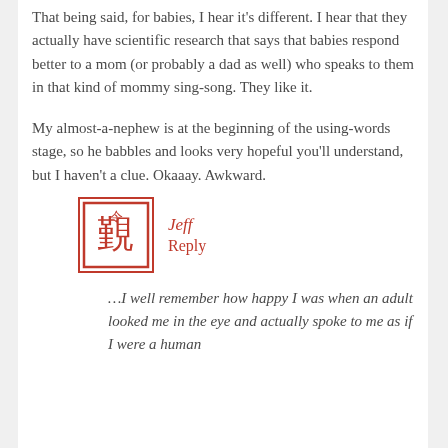That being said, for babies, I hear it's different. I hear that they actually have scientific research that says that babies respond better to a mom (or probably a dad as well) who speaks to them in that kind of mommy sing-song. They like it.
My almost-a-nephew is at the beginning of the using-words stage, so he babbles and looks very hopeful you'll understand, but I haven't a clue. Okaaay. Awkward.
Jeff
Reply
…I well remember how happy I was when an adult looked me in the eye and actually spoke to me as if I were a human